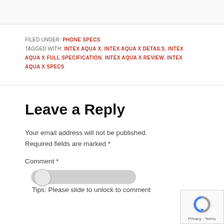FILED UNDER: PHONE SPECS
TAGGED WITH: INTEX AQUA X, INTEX AQUA X DETAILS, INTEX AQUA X FULL SPECIFICATION, INTEX AQUA X REVIEW, INTEX AQUA X SPECS
Leave a Reply
Your email address will not be published. Required fields are marked *
Comment *
Tips: Please slide to unlock to comment